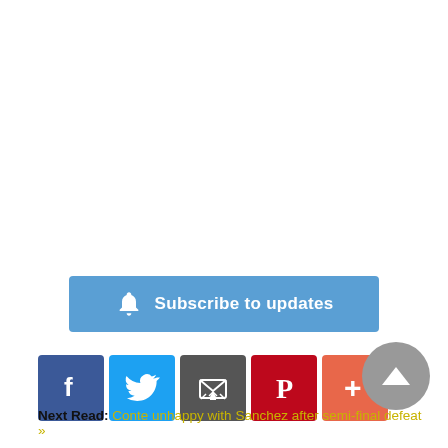[Figure (other): Blue 'Subscribe to updates' button with a bell icon on the left]
[Figure (other): Social media sharing icons row: Facebook (blue), Twitter (light blue), Email (dark grey), Pinterest (red), More/Plus (orange-red)]
[Figure (other): Circular grey scroll-to-top button with an upward triangle arrow, positioned bottom-right]
Next Read: Conte unhappy with Sanchez after semi-final defeat »